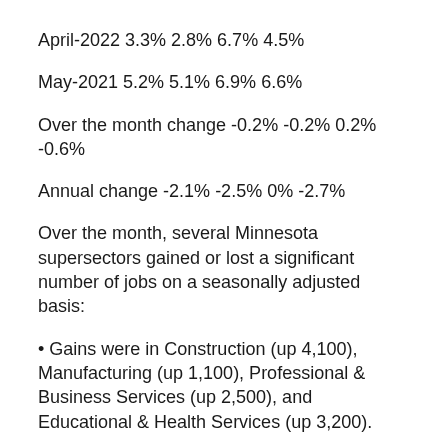April-2022 3.3% 2.8% 6.7% 4.5%
May-2021 5.2% 5.1% 6.9% 6.6%
Over the month change -0.2% -0.2% 0.2% -0.6%
Annual change -2.1% -2.5% 0% -2.7%
Over the month, several Minnesota supersectors gained or lost a significant number of jobs on a seasonally adjusted basis:
Gains were in Construction (up 4,100), Manufacturing (up 1,100), Professional & Business Services (up 2,500), and Educational & Health Services (up 3,200).